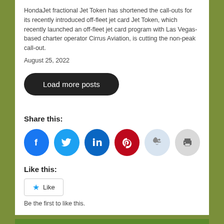HondaJet fractional Jet Token has shortened the call-outs for its recently introduced off-fleet jet card Jet Token, which recently launched an off-fleet jet card program with Las Vegas-based charter operator Cirrus Aviation, is cutting the non-peak call-out.
August 25, 2022
Load more posts
Share this:
[Figure (infographic): Row of six social share buttons: Facebook (blue), Twitter (cyan), LinkedIn (dark blue), Pinterest (red), Reddit (light blue), Print (gray)]
Like this:
Like
Be the first to like this.